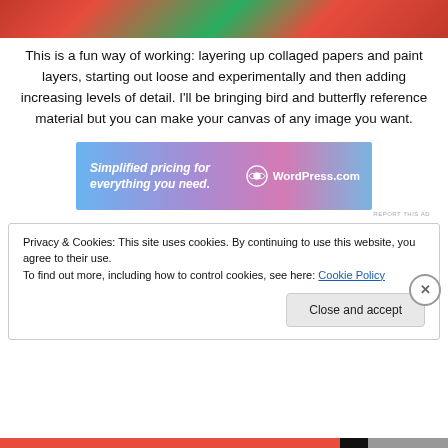[Figure (photo): Top portion of a floral painting with red roses and green leaves]
This is a fun way of working: layering up collaged papers and paint layers, starting out loose and experimentally and then adding increasing levels of detail. I'll be bringing bird and butterfly reference material but you can make your canvas of any image you want.
[Figure (screenshot): WordPress.com advertisement banner: 'Simplified pricing for everything you need.' with WordPress.com logo]
REPORT THIS AD
Privacy & Cookies: This site uses cookies. By continuing to use this website, you agree to their use.
To find out more, including how to control cookies, see here: Cookie Policy
Close and accept